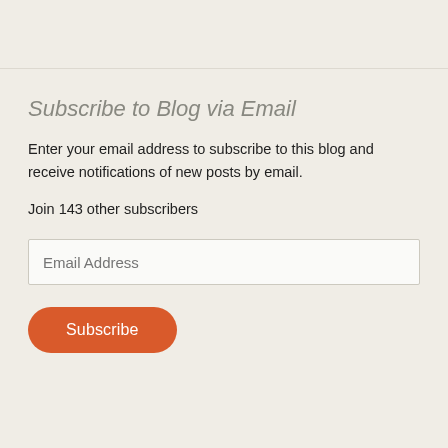Subscribe to Blog via Email
Enter your email address to subscribe to this blog and receive notifications of new posts by email.
Join 143 other subscribers